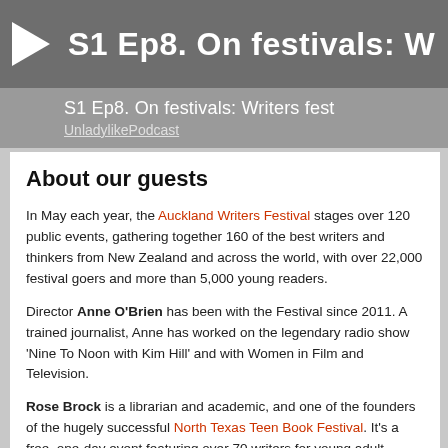[Figure (screenshot): Podcast player banner showing play button and episode title 'S1 Ep8. On festivals: W' with subtitle 'S1 Ep8. On festivals: Writers fest' and channel 'UnladylikePodcast']
About our guests
In May each year, the Auckland Writers Festival stages over 120 public events, gathering together 160 of the best writers and thinkers from New Zealand and across the world, with over 22,000 festival goers and more than 5,000 young readers.
Director Anne O'Brien has been with the Festival since 2011. A trained journalist, Anne has worked on the legendary radio show 'Nine To Noon with Kim Hill' and with Women in Film and Television.
Rose Brock is a librarian and academic, and one of the founders of the hugely successful North Texas Teen Book Festival. It's a free, one-day event featuring over 70 writers for young adult